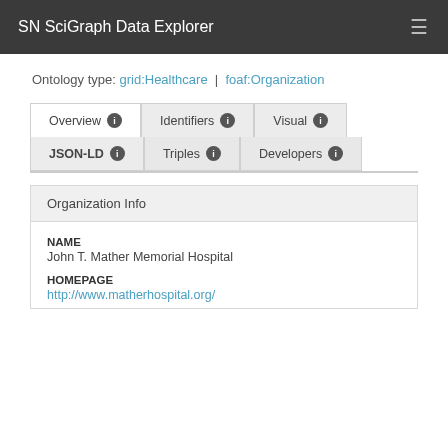SN SciGraph Data Explorer
Ontology type: grid:Healthcare | foaf:Organization
Overview | Identifiers | Visual | JSON-LD | Triples | Developers
Organization Info
NAME
John T. Mather Memorial Hospital
HOMEPAGE
http://www.matherhospital.org/